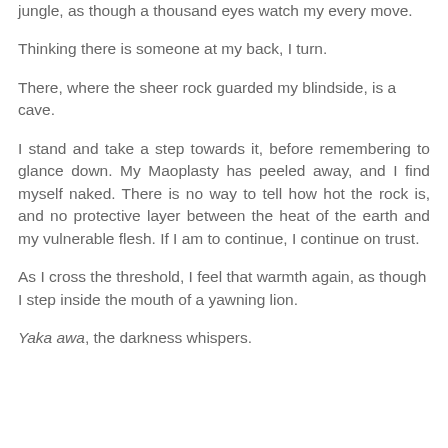jungle, as though a thousand eyes watch my every move.
Thinking there is someone at my back, I turn.
There, where the sheer rock guarded my blindside, is a cave.
I stand and take a step towards it, before remembering to glance down. My Maoplasty has peeled away, and I find myself naked. There is no way to tell how hot the rock is, and no protective layer between the heat of the earth and my vulnerable flesh. If I am to continue, I continue on trust.
As I cross the threshold, I feel that warmth again, as though I step inside the mouth of a yawning lion.
Yaka awa, the darkness whispers.